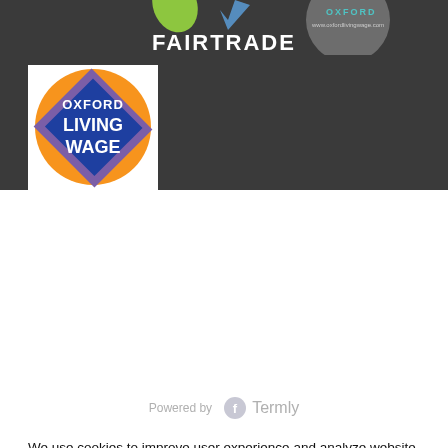[Figure (logo): Partial logos visible in dark header area — green leaf, blue checkmark, Oxford circular grey logo]
FAIRTRADE
[Figure (logo): Oxford Living Wage logo — circular design with orange, purple and blue sections, white text reading OXFORD LIVING WAGE]
[Figure (logo): Powered by Termly — grey circular F icon and Termly wordmark]
We use cookies to improve user experience and analyze website traffic. By clicking “Accept,” you agree to our website’s cookie use as described in our Cookie Policy. You can change your cookie settings at any time by clicking “Preferences.”
Decline
Accept
Preferences